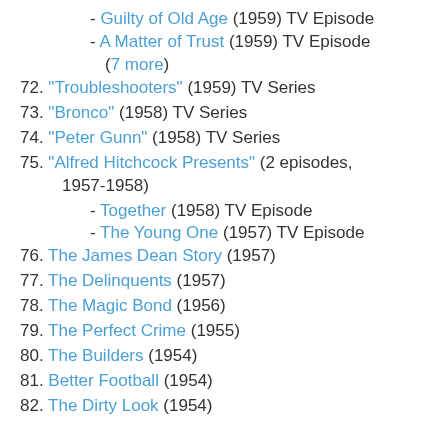- Guilty of Old Age (1959) TV Episode
- A Matter of Trust (1959) TV Episode
(7 more)
72. "Troubleshooters" (1959) TV Series
73. "Bronco" (1958) TV Series
74. "Peter Gunn" (1958) TV Series
75. "Alfred Hitchcock Presents" (2 episodes, 1957-1958)
- Together (1958) TV Episode
- The Young One (1957) TV Episode
76. The James Dean Story (1957)
77. The Delinquents (1957)
78. The Magic Bond (1956)
79. The Perfect Crime (1955)
80. The Builders (1954)
81. Better Football (1954)
82. The Dirty Look (1954)